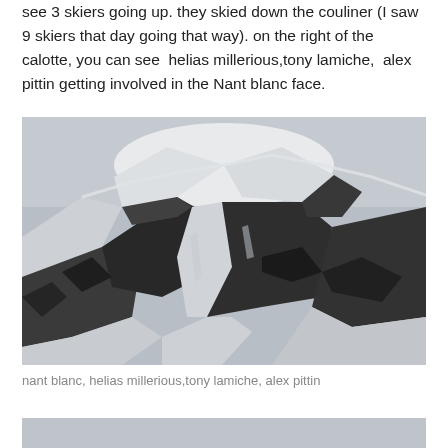see 3 skiers going up. they skied down the couliner (I saw 9 skiers that day going that way). on the right of the calotte, you can see  helias millerious,tony lamiche,  alex pittin getting involved in the Nant blanc face.
[Figure (photo): Black and white photograph of a snow-covered mountain face showing steep couloirs and rocky ridges, with a rounded snow calotte at the top and dark exposed rock faces below.]
nant blanc, helias millerious,tony lamiche, alex pittin